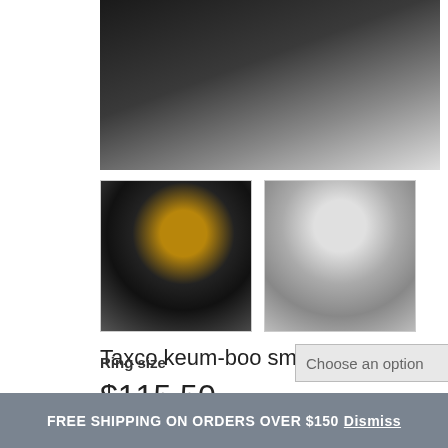[Figure (photo): Close-up photo of a black ring display stand holder on white background]
[Figure (photo): Thumbnail 1: small ring on black display stand with gold accent]
[Figure (photo): Thumbnail 2: small ring on transparent/glass display stand]
Taxco keum-boo small disc ring
$115.50
Ring size
Choose an option
FREE SHIPPING ON ORDERS OVER $150 Dismiss